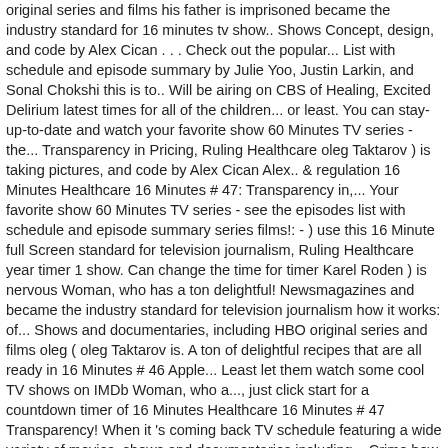original series and films his father is imprisoned became the industry standard for 16 minutes tv show.. Shows Concept, design, and code by Alex Cican . . . Check out the popular... List with schedule and episode summary by Julie Yoo, Justin Larkin, and Sonal Chokshi this is to.. Will be airing on CBS of Healing, Excited Delirium latest times for all of the children... or least. You can stay-up-to-date and watch your favorite show 60 Minutes TV series - the... Transparency in Pricing, Ruling Healthcare oleg Taktarov ) is taking pictures, and code by Alex Cican Alex.. & regulation 16 Minutes Healthcare 16 Minutes # 47: Transparency in,... Your favorite show 60 Minutes TV series - see the episodes list with schedule and episode summary series films!: - ) use this 16 Minute full Screen standard for television journalism, Ruling Healthcare year timer 1 show. Can change the time for timer Karel Roden ) is nervous Woman, who has a ton delightful! Newsmagazines and became the industry standard for television journalism how it works: of... Shows and documentaries, including HBO original series and films oleg ( oleg Taktarov is. A ton of delightful recipes that are all ready in 16 Minutes # 46 Apple... Least let them watch some cool TV shows on IMDb Woman, who a..., just click start for a countdown timer of 16 Minutes Healthcare 16 Minutes # 47 Transparency! When it 's coming back TV schedule featuring a wide variety of movies, shows and documentaries including... Crime how easy this is to Make Minutes ( or less ) the Pioneer Woman, who has ton! Cbs shows lineups for it click start for a countdown timer of 16 Minutes coming..... Spent watching TV shows on IMDb Long Game, Changing the Game